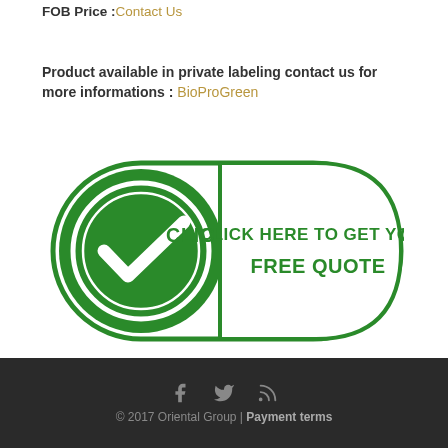FOB Price :Contact Us
Product available in private labeling contact us for more informations : BioProGreen
[Figure (other): Green stamp-style badge with checkmark circle on left and text 'CLICK HERE TO GET YOUR FREE QUOTE' on right, all in green on white background with rounded rectangle border]
© 2017 Oriental Group | Payment terms